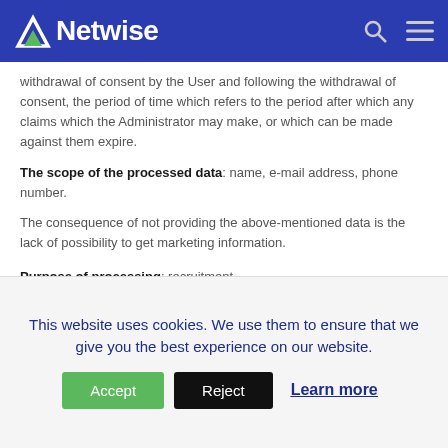Netwise
withdrawal of consent by the User and following the withdrawal of consent, the period of time which refers to the period after which any claims which the Administrator may make, or which can be made against them expire.
The scope of the processed data: name, e-mail address, phone number.
The consequence of not providing the above-mentioned data is the lack of possibility to get marketing information.
Purpose of processing: recruitment.
Legal grounds: Article 6 section 1 letter a) of the Regulation.
The period for which the data is stored: until the moment of
This website uses cookies. We use them to ensure that we give you the best experience on our website.